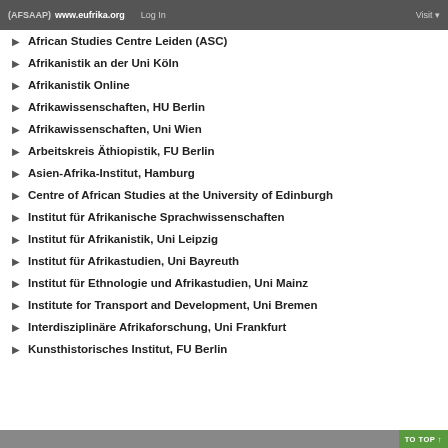(AFSAAP) www.eufrika.org  Log In  Visit
African Studies Centre Leiden (ASC)
Afrikanistik an der Uni Köln
Afrikanistik Online
Afrikawissenschaften, HU Berlin
Afrikawissenschaften, Uni Wien
Arbeitskreis Äthiopistik, FU Berlin
Asien-Afrika-Institut, Hamburg
Centre of African Studies at the University of Edinburgh
Institut für Afrikanische Sprachwissenschaften
Institut für Afrikanistik, Uni Leipzig
Institut für Afrikastudien, Uni Bayreuth
Institut für Ethnologie und Afrikastudien, Uni Mainz
Institute for Transport and Development, Uni Bremen
Interdisziplinäre Afrikaforschung, Uni Frankfurt
Kunsthistorisches Institut, FU Berlin
TO TOP ↑